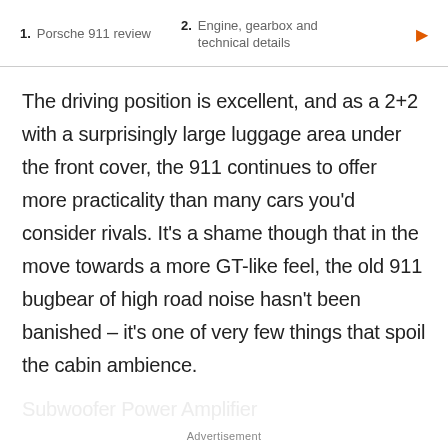1. Porsche 911 review  2. Engine, gearbox and technical details
The driving position is excellent, and as a 2+2 with a surprisingly large luggage area under the front cover, the 911 continues to offer more practicality than many cars you'd consider rivals. It's a shame though that in the move towards a more GT-like feel, the old 911 bugbear of high road noise hasn't been banished – it's one of very few things that spoil the cabin ambience.
Advertisement